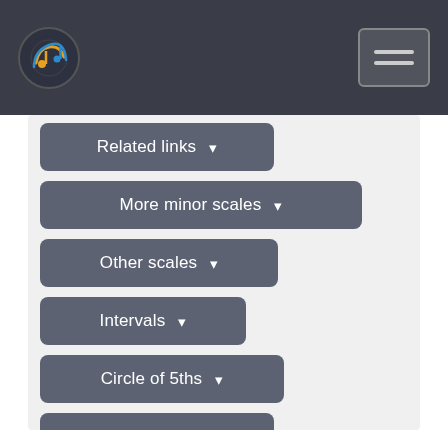Music theory navigation header with logo and hamburger menu
Related links ▾
More minor scales ▾
Other scales ▾
Intervals ▾
Circle of 5ths ▾
Triad chords ▾
6th chords ▾
7th chords ▾